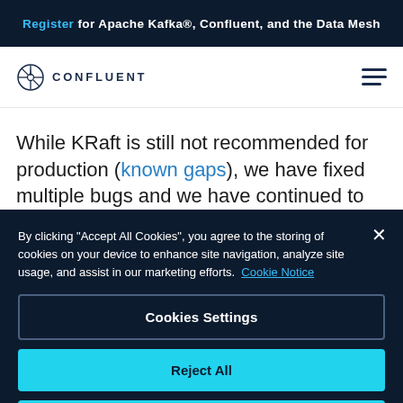Register for Apache Kafka®, Confluent, and the Data Mesh
[Figure (logo): Confluent logo with compass-like circular icon and text CONFLUENT]
While KRaft is still not recommended for production (known gaps), we have fixed multiple bugs and we have continued to
By clicking "Accept All Cookies", you agree to the storing of cookies on your device to enhance site navigation, analyze site usage, and assist in our marketing efforts. Cookie Notice
Cookies Settings
Reject All
Accept All Cookies